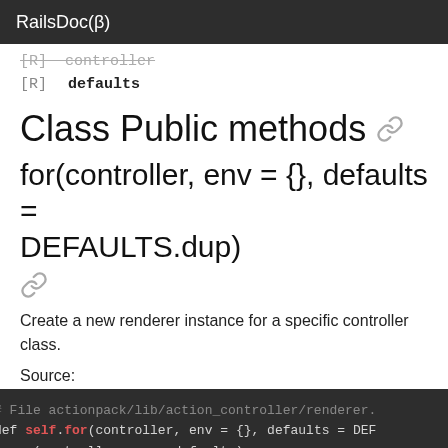RailsDoc(β)
[R] controller
[R] defaults
Class Public methods
for(controller, env = {}, defaults = DEFAULTS.dup)
Create a new renderer instance for a specific controller class.
Source:
[Figure (screenshot): Code block showing Ruby source: # File actionpack/lib/action_controller/renderer. def self.for(controller, env = {}, defaults = DEF   new(controller, env, defaults) end]